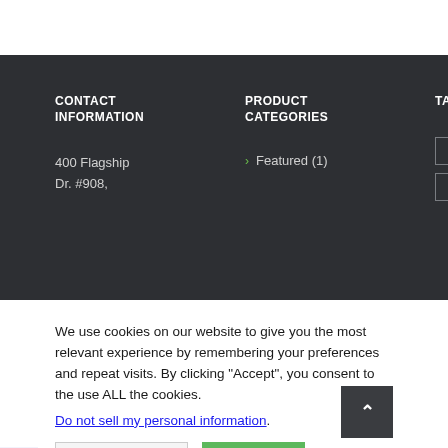CONTACT INFORMATION
PRODUCT CATEGORIES
TAGS
400 Flagship Dr. #908,
> Featured (1)
50K+ DR
100K+ DR
We use cookies on our website to give you the most relevant experience by remembering your preferences and repeat visits. By clicking “Accept”, you consent to the use ALL the cookies.
Do not sell my personal information.
Cookie Settings
Accept
QUOTE REQUEST